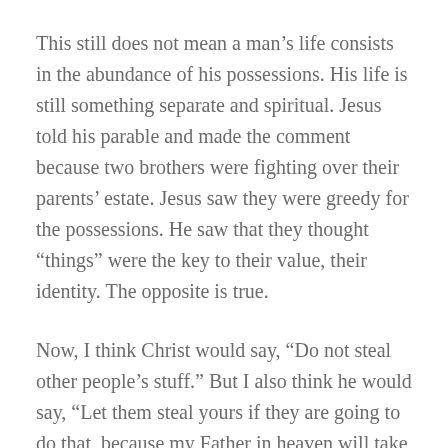This still does not mean a man’s life consists in the abundance of his possessions. His life is still something separate and spiritual. Jesus told his parable and made the comment because two brothers were fighting over their parents’ estate. Jesus saw they were greedy for the possessions. He saw that they thought “things” were the key to their value, their identity. The opposite is true.
Now, I think Christ would say, “Do not steal other people’s stuff.” But I also think he would say, “Let them steal yours if they are going to do that, because my Father in heaven will take care of you.” I believe he wants us to trust God that much.
Why? Because there is a fine line between knowing you have responsibility for your stuff, which is to further...